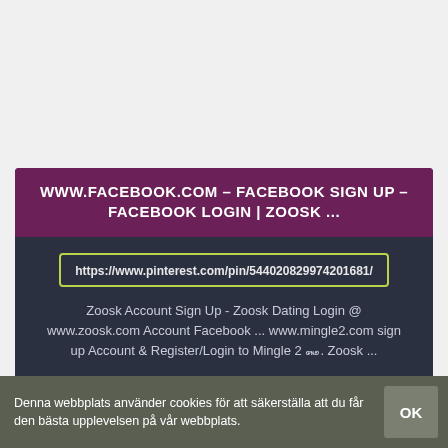WWW.FACEBOOK.COM – FACEBOOK SIGN UP – FACEBOOK LOGIN | ZOOSK ...
https://www.pinterest.com/pin/544020829974201681/
Zoosk Account Sign Up - Zoosk Dating Login @ www.zoosk.com Account Facebook ... www.mingle2.com sign up Account & Register/Login to Mingle 2 ꘏. Zoosk ...
STATUS: AKTIVA
Denna webbplats använder cookies för att säkerställa att du får den bästa upplevelsen på vår webbplats.